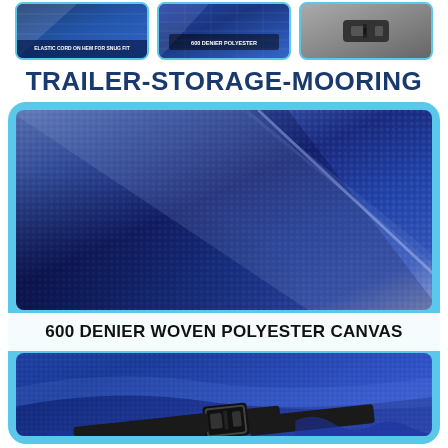[Figure (photo): Three thumbnail images at top: (1) close-up of blue fabric with 'ELASTIC CORD ON HEM FOR SNUG FIT' label, (2) blue polyester fabric close-up, (3) black buckle/clip hardware on grey background]
TRAILER-STORAGE-MOORING
[Figure (photo): Large product infographic card with cyan/light-blue rounded border containing: close-up photo of royal blue 600 denier woven polyester canvas fabric showing texture and fold, a white banner label reading '600 DENIER WOVEN POLYESTER CANVAS', and below it a photo of royal blue boat cover fabric with a black plastic strap buckle/clip visible]
600 DENIER WOVEN POLYESTER CANVAS